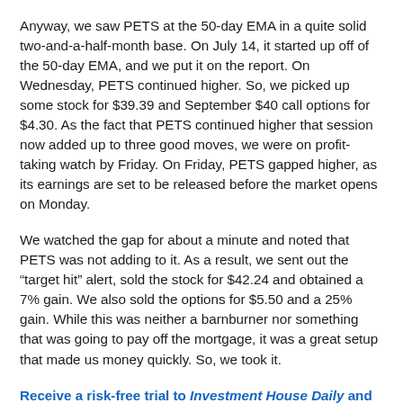Anyway, we saw PETS at the 50-day EMA in a quite solid two-and-a-half-month base. On July 14, it started up off of the 50-day EMA, and we put it on the report. On Wednesday, PETS continued higher. So, we picked up some stock for $39.39 and September $40 call options for $4.30. As the fact that PETS continued higher that session now added up to three good moves, we were on profit-taking watch by Friday. On Friday, PETS gapped higher, as its earnings are set to be released before the market opens on Monday.
We watched the gap for about a minute and noted that PETS was not adding to it. As a result, we sent out the “target hit” alert, sold the stock for $42.24 and obtained a 7% gain. We also sold the options for $5.50 and a 25% gain. While this was neither a barnburner nor something that was going to pay off the mortgage, it was a great setup that made us money quickly. So, we took it.
Receive a risk-free trial to Investment House Daily and save 50% by clicking here now!